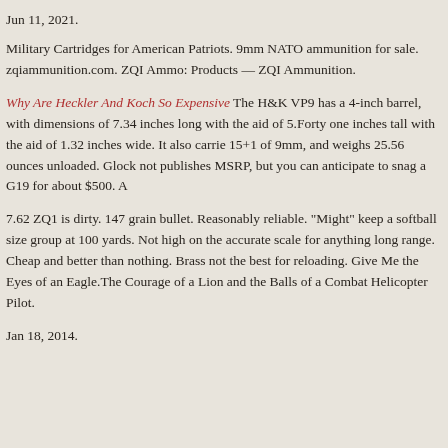Jun 11, 2021.
Military Cartridges for American Patriots. 9mm NATO ammunition for sale. zqiammunition.com. ZQI Ammo: Products — ZQI Ammunition.
Why Are Heckler And Koch So Expensive The H&K VP9 has a 4-inch barrel, with dimensions of 7.34 inches long with the aid of 5.Forty one inches tall with the aid of 1.32 inches wide. It also carrie 15+1 of 9mm, and weighs 25.56 ounces unloaded. Glock not publishes MSRP, but you can anticipate to snag a G19 for about $500. A
7.62 ZQ1 is dirty. 147 grain bullet. Reasonably reliable. "Might" keep a softball size group at 100 yards. Not high on the accurate scale for anything long range. Cheap and better than nothing. Brass not the best for reloading. Give Me the Eyes of an Eagle.The Courage of a Lion and the Balls of a Combat Helicopter Pilot.
Jan 18, 2014.